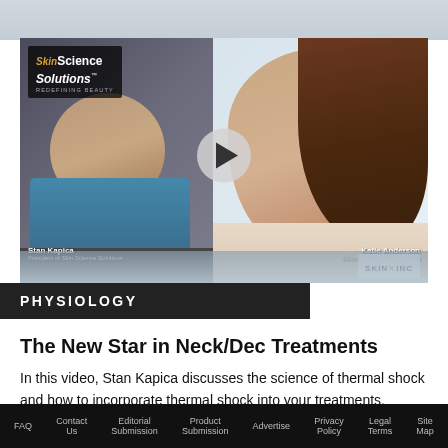[Figure (screenshot): Video thumbnail showing Stan Kapica (President of Skin Science Solutions) on the left and Katie Anderson (Editor, Skin Inc.) on the right, with a play button in the center and the Skin Science Solutions logo in the top-left corner and Skin Inc logo in the bottom-right corner.]
PHYSIOLOGY
The New Star in Neck/Dec Treatments
In this video, Stan Kapica discusses the science of thermal shock and how to incorporate thermal shock into your treatments.
FAQ   Contact Us   Editorial Submission   Product Submission   Advertise   Privacy Policy   Legal Terms   Site Map